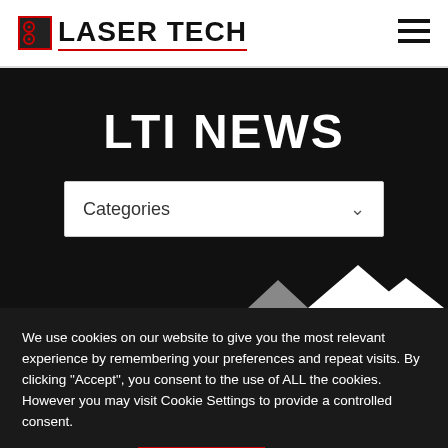LASER TECH
LTI NEWS
Categories
[Figure (illustration): Mountain silhouette graphic at bottom of black hero section]
We use cookies on our website to give you the most relevant experience by remembering your preferences and repeat visits. By clicking “Accept”, you consent to the use of ALL the cookies. However you may visit Cookie Settings to provide a controlled consent.
Cookie settings   ACCEPT